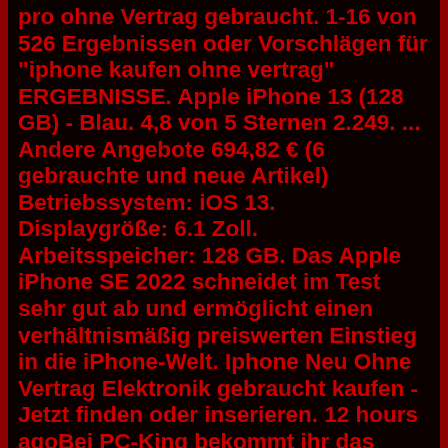pro ohne Vertrag gebraucht. 1-16 von 526 Ergebnissen oder Vorschlägen für "iphone kaufen ohne vertrag" ERGEBNISSE. Apple iPhone 13 (128 GB) - Blau. 4,8 von 5 Sternen 2.249. ... Andere Angebote 694,82 € (6 gebrauchte und neue Artikel) Betriebssystem: iOS 13. Displaygröße: 6.1 Zoll. Arbeitsspeicher: 128 GB. Das Apple iPhone SE 2022 schneidet im Test sehr gut ab und ermöglicht einen verhältnismäßig preiswerten Einstieg in die iPhone-Welt. Iphone Neu Ohne Vertrag Elektronik gebraucht kaufen - Jetzt finden oder inserieren. 12 hours agoBei PC-King bekommt ihr das iPhone SE 2022 128 GB für 38100 600 Versand. Immer erreichbar und immer günstig. Unsere besten Smartphone-Tarife für deinen ganz persönlichen, mobilen Lifestyle. Smartphone Kaufberatung. Finden Sie das passende Smartphone. In nur wenigen Klicks das passende Smartphone für Ihre Bedürfnisse. Jetzt starten! JETZT REGISTRIEREN. Entfalte neue Möglichkeiten. Bargeldbeträge, die den täglichen Verfügungsrahmen am Geldautomaten übersteigen, erhalten Sie in allen Filialen der